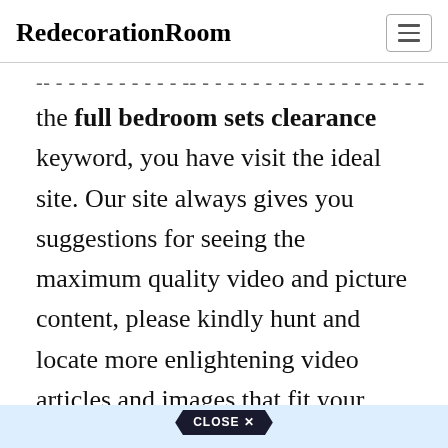RedecorationRoom
...and more images and content related to the full bedroom sets clearance keyword, you have visit the ideal site. Our site always gives you suggestions for seeing the maximum quality video and picture content, please kindly hunt and locate more enlightening video articles and images that fit your interests.
Full Bedroom Sets Clearance.